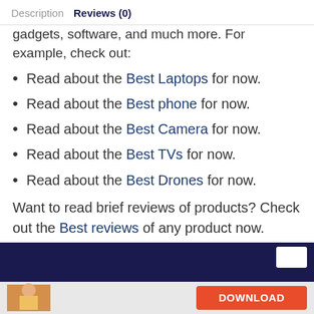Description  Reviews (0)
gadgets, software, and much more. For example, check out:
Read about the Best Laptops for now.
Read about the Best phone for now.
Read about the Best Camera for now.
Read about the Best TVs for now.
Read about the Best Drones for now.
Want to read brief reviews of products? Check out the Best reviews of any product now.
[Figure (other): Dark navy footer bar with download button overlay at bottom of page]